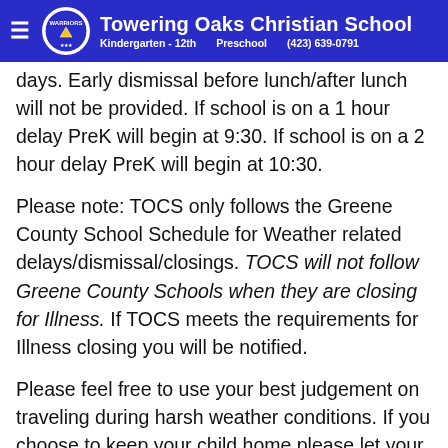Towering Oaks Christian School — Kindergarten - 12th | Preschool | (423) 639-0791
...days. Early dismissal before lunch/after lunch will not be provided. If school is on a 1 hour delay PreK will begin at 9:30. If school is on a 2 hour delay PreK will begin at 10:30.
Please note: TOCS only follows the Greene County School Schedule for Weather related delays/dismissal/closings. TOCS will not follow Greene County Schools when they are closing for Illness. If TOCS meets the requirements for Illness closing you will be notified.
Please feel free to use your best judgement on traveling during harsh weather conditions. If you choose to keep your child home please let your teacher know so we don't worry.